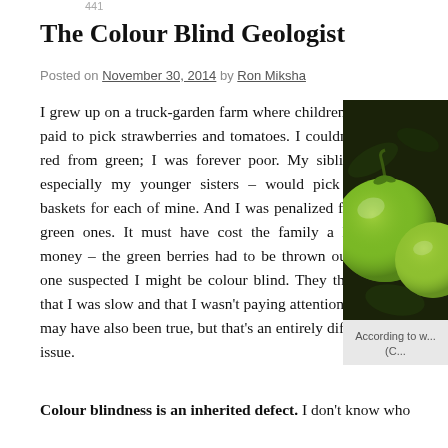441
The Colour Blind Geologist
Posted on November 30, 2014 by Ron Miksha
I grew up on a truck-garden farm where children were paid to pick strawberries and tomatoes. I couldn't tell red from green; I was forever poor. My siblings – especially my younger sisters – would pick three baskets for each of mine. And I was penalized for the green ones. It must have cost the family a lot of money – the green berries had to be thrown out. No one suspected I might be colour blind. They thought that I was slow and that I wasn't paying attention. That may have also been true, but that's an entirely different issue.
[Figure (photo): Photo of green tomatoes on a vine against a dark background]
According to w... (C...
Colour blindness is an inherited defect. I don't know who